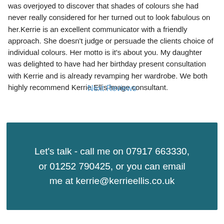was overjoyed to discover that shades of colours she had never really considered for her turned out to look fabulous on her.Kerrie is an excellent communicator with a friendly approach. She doesn't judge or persuade the clients choice of individual colours.  Her motto is it's about you. My daughter was delighted to have had her birthday present consultation with Kerrie and is already revamping her wardrobe. We both highly recommend Kerrie Ellis image consultant.
Next Reviews
Let's talk - call me on 07917 663330, or 01252 790425, or you can email me at kerrie@kerrieellis.co.uk